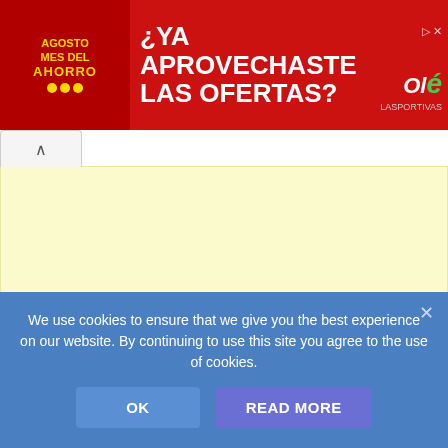[Figure (screenshot): Red advertisement banner in Spanish: 'Agosto Mes del Ahorro - ¿Ya aprovechaste las ofertas?' with Olé brand logo and person sitting on couch graphic]
The next day the forces of Columbus had victory over the native peoples of the island, taking what belonged to these
We use cookies to ensure that we give you the best experience on our website. By continuing to use this site you agree to the use of cookies.
OK
READ MORE